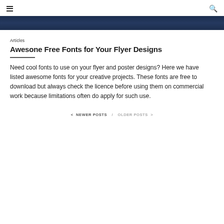≡  🔍
[Figure (photo): Dark blue banner image, decorative header graphic]
Articles
Awesone Free Fonts for Your Flyer Designs
Need cool fonts to use on your flyer and poster designs? Here we have listed awesome fonts for your creative projects. These fonts are free to download but always check the licence before using them on commercial work because limitations often do apply for such use.
< NEWER POSTS / OLDER POSTS >